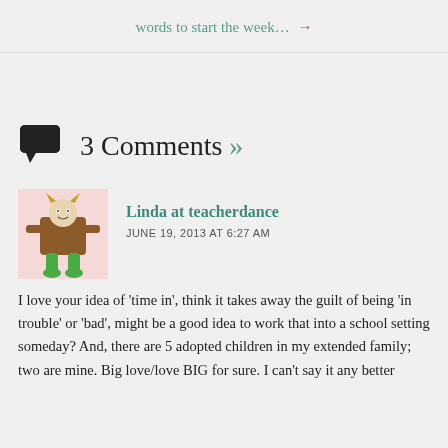words to start the week... →
3 Comments »
Linda at teacherdance
JUNE 19, 2013 AT 6:27 AM
I love your idea of 'time in', think it takes away the guilt of being 'in trouble' or 'bad', might be a good idea to work that into a school setting someday? And, there are 5 adopted children in my extended family; two are mine. Big love/love BIG for sure. I can't say it any better than you have. Really. And I can always use another dose of grace.